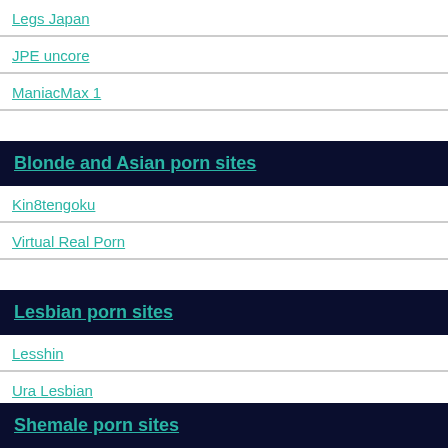Legs Japan
JPE uncore
ManiacMax 1
Blonde and Asian porn sites
Kin8tengoku
Virtual Real Porn
Lesbian porn sites
Lesshin
Ura Lesbian
Shemale porn sites